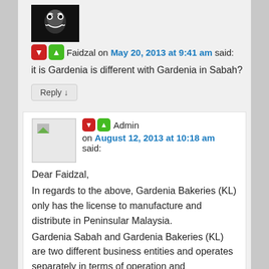[Figure (photo): Avatar image of user Faidzal — dark stylized face/joker image]
Faidzal on May 20, 2013 at 9:41 am said:
it is Gardenia is different with Gardenia in Sabah?
Reply ↓
[Figure (photo): Generic placeholder avatar image for Admin]
Admin on August 12, 2013 at 10:18 am said:
Dear Faidzal,
In regards to the above, Gardenia Bakeries (KL) only has the license to manufacture and distribute in Peninsular Malaysia.
Gardenia Sabah and Gardenia Bakeries (KL) are two different business entities and operates separately in terms of operation and management.